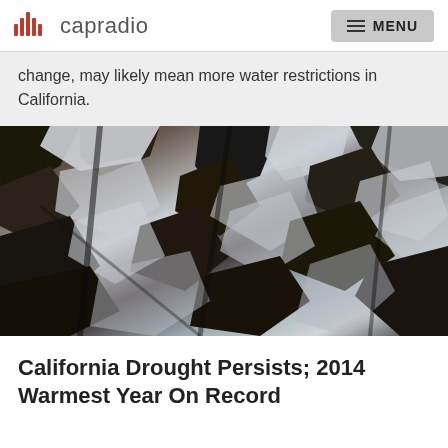capradio  MENU
change, may likely mean more water restrictions in California.
[Figure (photo): Aerial view of rocky mountain terrain partially covered with snow, showing dark rocky formations and white snow patches in an abstract pattern.]
California Drought Persists; 2014 Warmest Year On Record